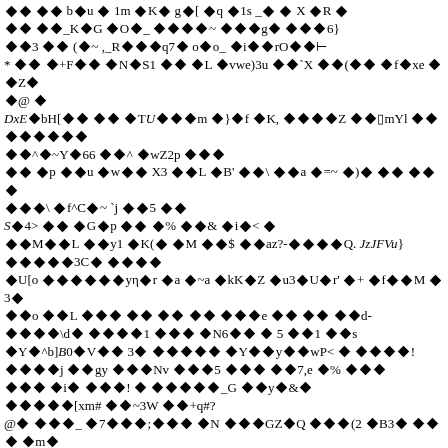Corrupted/encoded text block with diamond replacement characters throughout the page